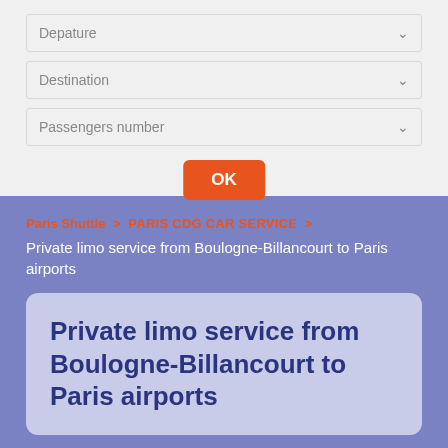[Figure (screenshot): Form with three dropdown fields: Depature, Destination, Passengers number, and an OK button]
Paris Shuttle > PARIS CDG CAR SERVICE >
Private limo service from Boulogne-Billancourt to Paris airports
Private limo service from Boulogne-Billancourt to Paris airports